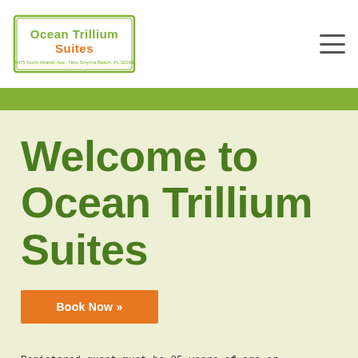[Figure (logo): Ocean Trillium Suites logo with address: 5475 North Atlantic Ave., New Smyrna Beach, FL 32169]
Welcome to Ocean Trillium Suites
Book Now »
Registered guest must be 25 years of age or accompanied by parent or legal guardian (notarized documentation required).